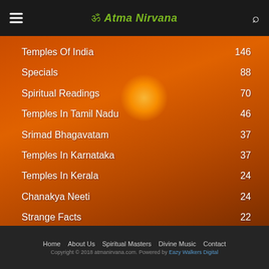☰ Atma Nirvana 🔍
Temples Of India  146
Specials  88
Spiritual Readings  70
Temples In Tamil Nadu  46
Srimad Bhagavatam  37
Temples In Karnataka  37
Temples In Kerala  24
Chanakya Neeti  24
Strange Facts  22
Home  About Us  Spiritual Masters  Divine Music  Contact
Copyright © 2018 atmanirvana.com. Powered by Eazy Walkers Digital